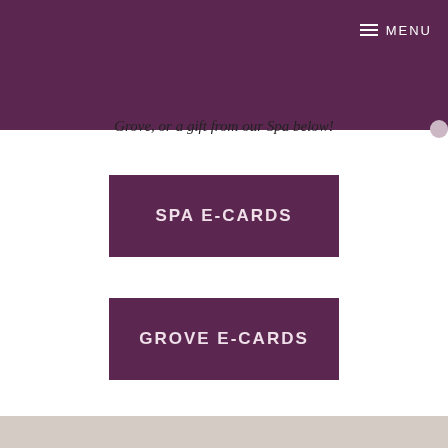MENU
Grove, or a gift from our Spa below!
SPA E-CARDS
GROVE E-CARDS
[Figure (photo): Interior room photo showing a wall with artwork and a mirror with wooden frame, and a wall-mounted air conditioning unit]